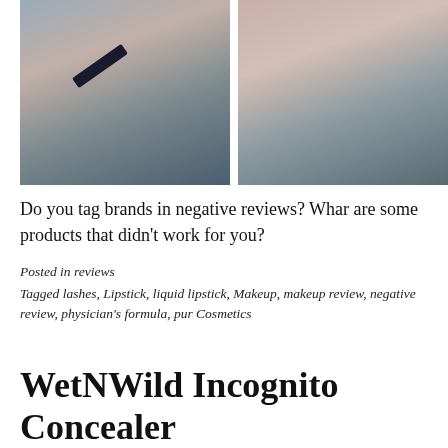[Figure (photo): Two side-by-side photos of a woman wearing a blue top. Left photo shows her holding a dark makeup product (lipstick/concealer) near her face; right photo shows her face without the product.]
Do you tag brands in negative reviews? Whar are some products that didn't work for you?
Posted in reviews
Tagged lashes, Lipstick, liquid lipstick, Makeup, makeup review, negative review, physician's formula, pur Cosmetics
WetNWild Incognito Concealer